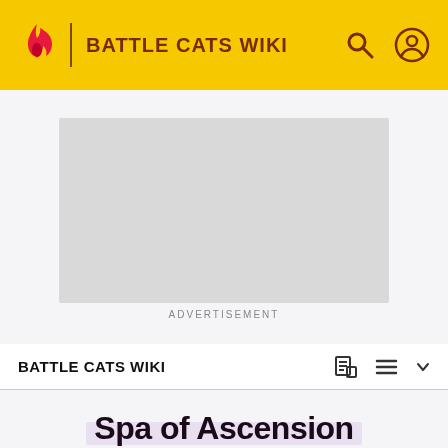BATTLE CATS WIKI
[Figure (screenshot): Advertisement placeholder box (gray rectangle)]
ADVERTISEMENT
BATTLE CATS WIKI
Spa of Ascension